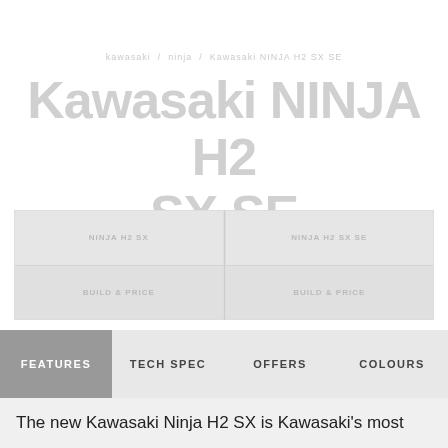kawasaki / ninja / Kawasaki NINJA H2 SX SE
Kawasaki NINJA H2 SX SE
[Figure (photo): Four image thumbnails in a 2x2 grid showing the Kawasaki Ninja H2 SX SE motorcycle from various angles, rendered as light grey placeholders]
FEATURES | TECH SPEC | OFFERS | COLOURS
The new Kawasaki Ninja H2 SX is Kawasaki's most